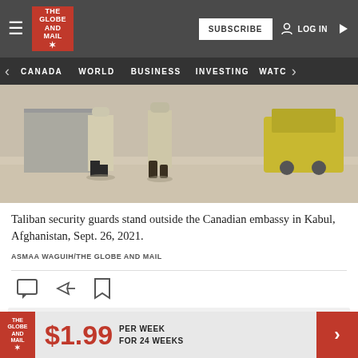THE GLOBE AND MAIL — SUBSCRIBE | LOG IN
CANADA  WORLD  BUSINESS  INVESTING  WATC
[Figure (photo): Taliban security guards standing outside the Canadian embassy in Kabul, Afghanistan. Two figures in traditional dress visible from behind, with a yellow vehicle in background.]
Taliban security guards stand outside the Canadian embassy in Kabul, Afghanistan, Sept. 26, 2021.
ASMAA WAGUIH/THE GLOBE AND MAIL
LISTEN TO ARTICLE